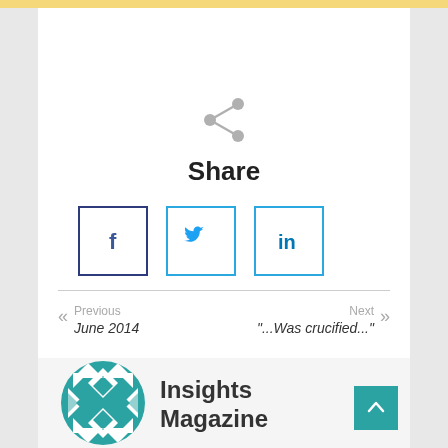[Figure (infographic): Share icon (grey network/share symbol) centered on page]
Share
[Figure (infographic): Three social media share buttons: Facebook (dark blue border with f icon), Twitter (light blue border with bird icon), LinkedIn (light blue border with in icon)]
« Previous
June 2014
Next »
"...Was crucified..."
[Figure (logo): Insights Magazine geometric teal logo mark — circular mosaic of triangles and diamond shapes in teal/white]
Insights
Magazine